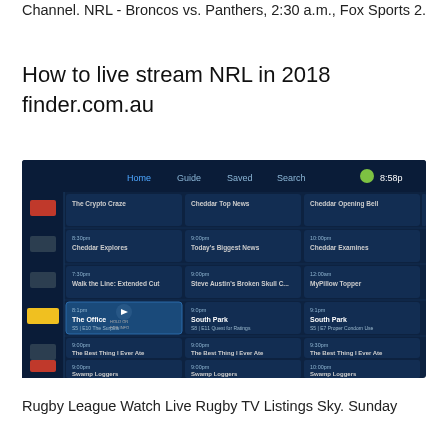Channel. NRL - Broncos vs. Panthers, 2:30 a.m., Fox Sports 2.
How to live stream NRL in 2018 finder.com.au
[Figure (screenshot): Screenshot of a TV streaming guide interface showing a dark blue grid layout with channel listings including shows like The Crypto Craze, Cheddar Top News, The Office, South Park, The Best Thing I Ever Ate, Swamp Loggers, with navigation tabs: Home, Guide, Saved, Search and a green dot indicating 8:58p]
Rugby League Watch Live Rugby TV Listings Sky. Sunday